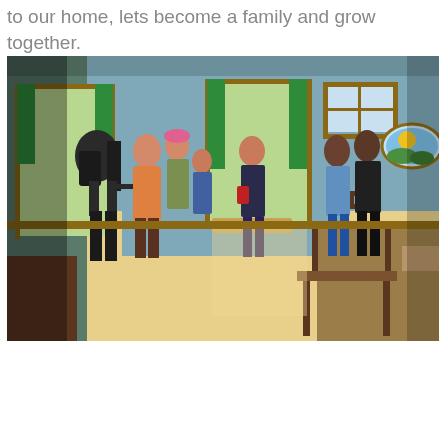to our home, lets become a family and grow together.
[Figure (photo): Interior of a colorful classroom or community room with wooden tables and chairs. A group of people stand in a circle or loose gathering. The room has warm wooden-framed windows and doors with green curtains, blue-painted walls, and a decorative oval stained-glass window on the right showing a sun and hills. Natural light streams in through open doors.]